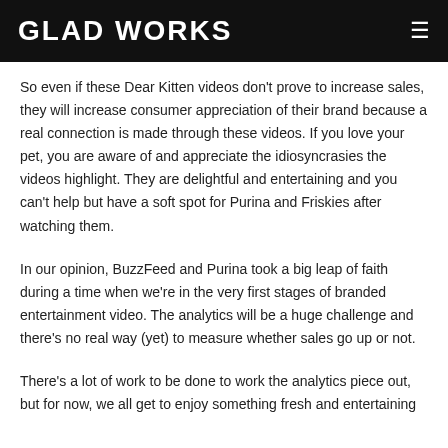GLAD WORKS
So even if these Dear Kitten videos don't prove to increase sales, they will increase consumer appreciation of their brand because a real connection is made through these videos. If you love your pet, you are aware of and appreciate the idiosyncrasies the videos highlight. They are delightful and entertaining and you can't help but have a soft spot for Purina and Friskies after watching them.
In our opinion, BuzzFeed and Purina took a big leap of faith during a time when we're in the very first stages of branded entertainment video. The analytics will be a huge challenge and there's no real way (yet) to measure whether sales go up or not.
There's a lot of work to be done to work the analytics piece out, but for now, we all get to enjoy something fresh and entertaining